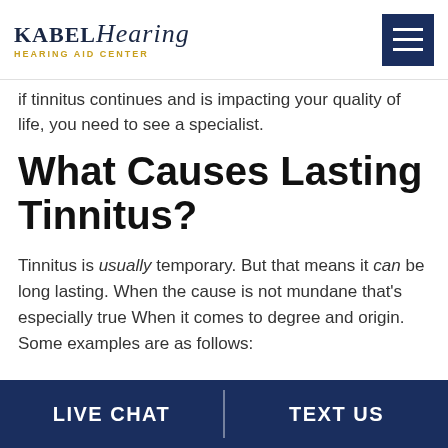Kabel Hearing — Hearing Aid Center
If tinnitus continues and is impacting your quality of life, you need to see a specialist.
What Causes Lasting Tinnitus?
Tinnitus is usually temporary. But that means it can be long lasting. When the cause is not mundane that's especially true When it comes to degree and origin. Some examples are as follows:
LIVE CHAT   TEXT US